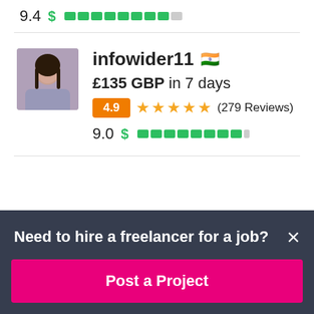9.4  $ ■■■■■■■■■
[Figure (screenshot): Profile card for user infowider11 with Indian flag, price £135 GBP in 7 days, rating 4.9 with 5 stars and 279 Reviews, score 9.0 with green bar]
infowider11 🇮🇳
£135 GBP in 7 days
4.9 ★★★★★ (279 Reviews)
9.0 $ ■■■■■■■■■
Need to hire a freelancer for a job?
Post a Project